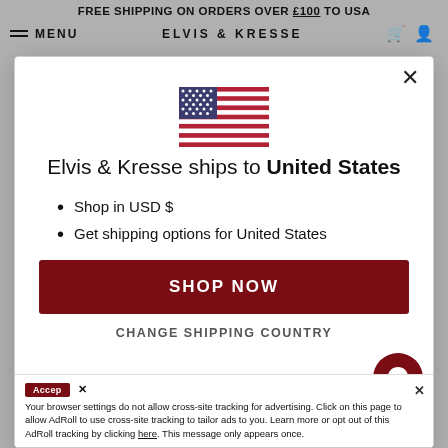FREE SHIPPING ON ORDERS OVER £100 TO USA
MENU   ELVIS & KRESSE
[Figure (illustration): US flag emoji/icon centered in modal]
Elvis & Kresse ships to United States
Shop in USD $
Get shipping options for United States
SHOP NOW
CHANGE SHIPPING COUNTRY
Accept   ×
Your browser settings do not allow cross-site tracking for advertising. Click on this page to allow AdRoll to use cross-site tracking to tailor ads to you. Learn more or opt out of this AdRoll tracking by clicking here. This message only appears once.